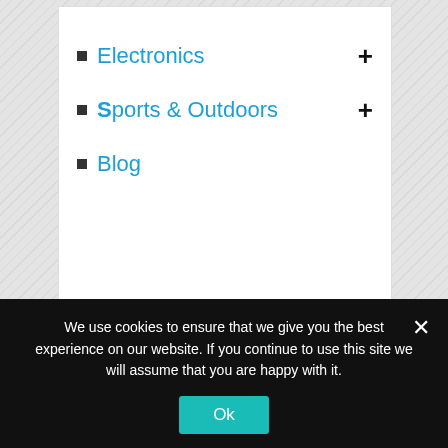Electronics +
Sports & Outdoors +
Blog
Electronics +
Sports & Outdoors +
Blog
We use cookies to ensure that we give you the best experience on our website. If you continue to use this site we will assume that you are happy with it.
Ok